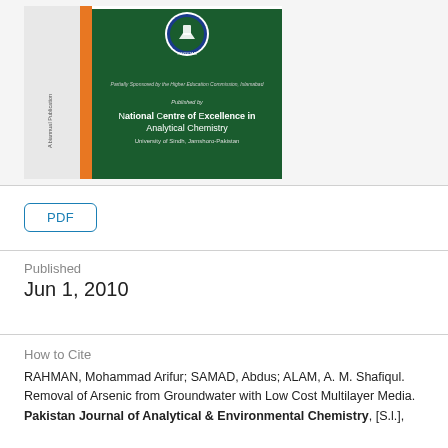[Figure (illustration): Journal cover of Pakistan Journal of Analytical & Environmental Chemistry, published by National Centre of Excellence in Analytical Chemistry, University of Sindh, Jamshoro-Pakistan. Green cover with circular logo, orange spine strip, and grey left margin with 'A biannual Publication' text.]
PDF
Published
Jun 1, 2010
How to Cite
RAHMAN, Mohammad Arifur; SAMAD, Abdus; ALAM, A. M. Shafiqul. Removal of Arsenic from Groundwater with Low Cost Multilayer Media. Pakistan Journal of Analytical & Environmental Chemistry, [S.l.],